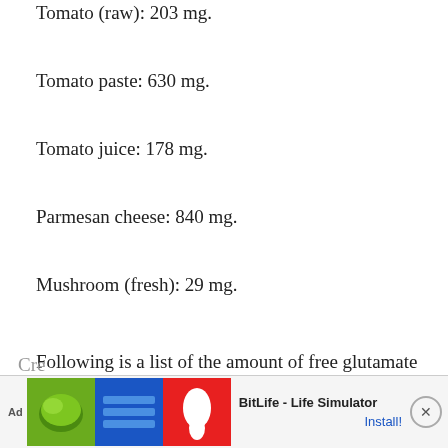Tomato (raw): 203 mg.
Tomato paste: 630 mg.
Tomato juice: 178 mg.
Parmesan cheese: 840 mg.
Mushroom (fresh): 29 mg.
Following is a list of the amount of free glutamate in 3.5-ounce portions of commercial products the FDA analyzed in 1995. When MSG or hydrolyzed vegetable protein (HVP) was listed on the label, it is noted in parentheses: